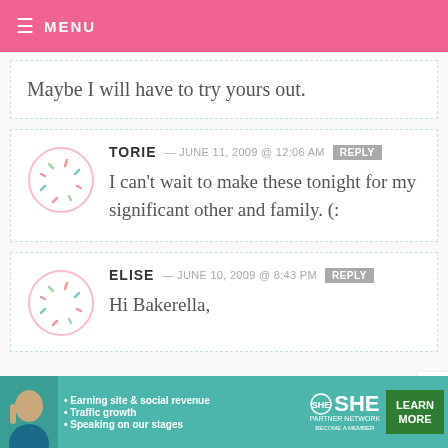≡ MENU
Maybe I will have to try yours out.
TORIE — JUNE 11, 2009 @ 12:06 AM  REPLY
I can't wait to make these tonight for my significant other and family. (:
ELISE — JUNE 10, 2009 @ 8:43 PM  REPLY
Hi Bakerella,
[Figure (infographic): SHE Partner Network advertisement banner with woman photo, bullet points about earning site & social revenue, traffic growth, speaking on our stages, SHE logo, and Learn More button]